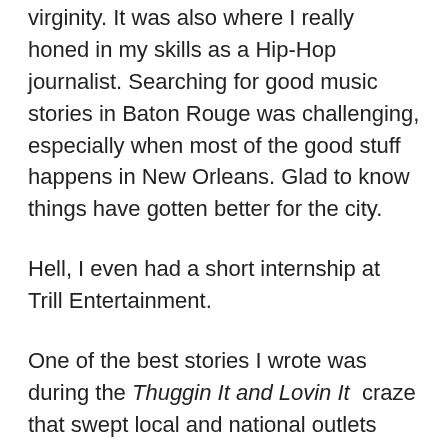virginity. It was also where I really honed in my skills as a Hip-Hop journalist. Searching for good music stories in Baton Rouge was challenging, especially when most of the good stuff happens in New Orleans. Glad to know things have gotten better for the city.
Hell, I even had a short internship at Trill Entertainment.
One of the best stories I wrote was during the Thuggin It and Lovin It craze that swept local and national outlets sometime after I graduated. Thuggin It and Lovin It was a "hood documentary" that exposed the underbelly of Louisiana's capitol city in a way that was both appalling, disgusting and entertaining all the same. Once I wrote this story, it sort of caught on like wildfire in the national and Hip-Hop press. Honestly, Triggerman and company were some cool dudes who had an idea and executed it quite